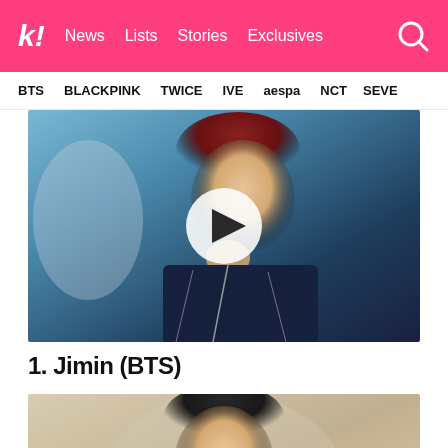k! News Lists Stories Exclusives
BTS BLACKPINK TWICE IVE aespa NCT SEVE
[Figure (photo): Video thumbnail of a male K-pop idol with reddish-brown hair wearing a dark navy jacket, with a play button overlay in the center]
1. Jimin (BTS)
[Figure (photo): Video thumbnail of a male K-pop idol with dark hair and hoop earring, wearing light-colored clothing, with a play button overlay in the center]